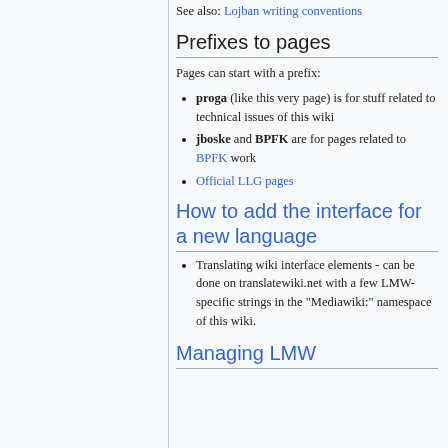See also: Lojban writing conventions
Prefixes to pages
Pages can start with a prefix:
proga (like this very page) is for stuff related to technical issues of this wiki
jboske and BPFK are for pages related to BPFK work
Official LLG pages
How to add the interface for a new language
Translating wiki interface elements - can be done on translatewiki.net with a few LMW-specific strings in the "Mediawiki:" namespace of this wiki.
Managing LMW